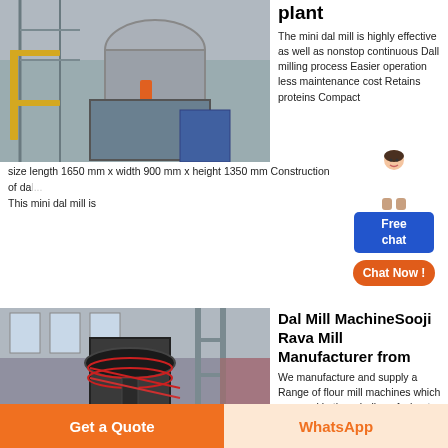[Figure (photo): Industrial dal mill plant machinery inside a factory building, showing large metal equipment and pipework]
plant
The mini dal mill is highly effective as well as nonstop continuous Dall milling process Easier operation less maintenance cost Retains proteins Compact size length 1650 mm x width 900 mm x height 1350 mm Construction of dal... This mini dal mill is
[Figure (photo): Dal mill machine / Sooji Rava Mill equipment inside an industrial factory building with scaffolding]
Dal Mill MachineSooji Rava Mill Manufacturer from
We manufacture and supply a Range of flour mill machines which are used in the grinding of wheat spices...